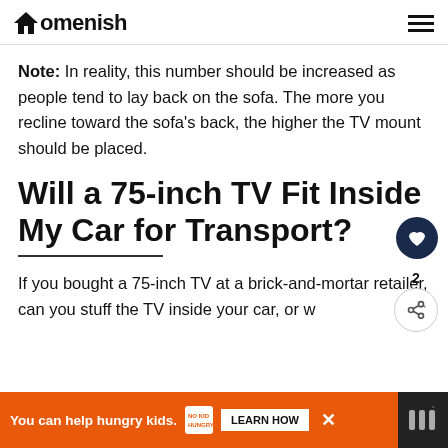Homenish
Note: In reality, this number should be increased as people tend to lay back on the sofa. The more you recline toward the sofa's back, the higher the TV mount should be placed.
Will a 75-inch TV Fit Inside My Car for Transport?
If you bought a 75-inch TV at a brick-and-mortar retailer, can you stuff the TV inside your car, or w... you have to arrange for delivery?